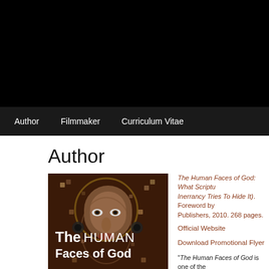(black header bar)
Author | Filmmaker | Curriculum Vitae
Author
[Figure (illustration): Book cover of 'The Human Faces of God' showing a Byzantine mosaic face of Jesus on a dark background with the title text overlaid in white.]
The Human Faces of God: What Scripture Reveals When It Gets God Wrong (and What Inerrancy Tries To Hide It). Foreword by Publishers, 2010. 268 pages.
Official Website
Download Promotional Flyer
"The Human Faces of God is one of the doctrine of biblical inerrancy I have ever